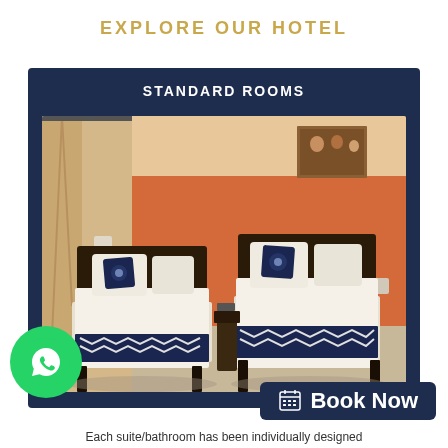EXPLORE OUR HOTEL
STANDARD ROOMS
[Figure (photo): Hotel standard room with two single beds with white bedding and navy blue chevron bed runners and decorative navy blue pillows, dark wooden headboards, orange accent wall, cream curtains, and a framed artwork on the wall.]
[Figure (logo): WhatsApp green circular button with white phone/chat icon]
Book Now
Each suite/bathroom has been individually designed